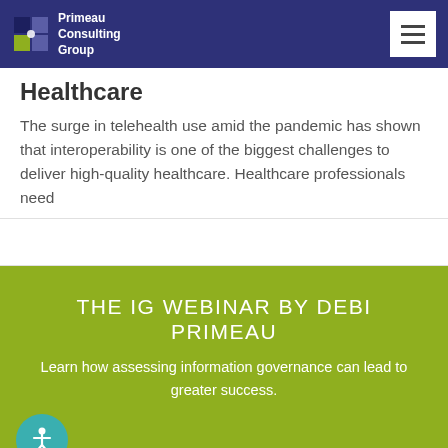Primeau Consulting Group
Healthcare
The surge in telehealth use amid the pandemic has shown that interoperability is one of the biggest challenges to deliver high-quality healthcare. Healthcare professionals need
THE IG WEBINAR BY DEBI PRIMEAU
Learn how assessing information governance can lead to greater success.
WATCH WEBINAR